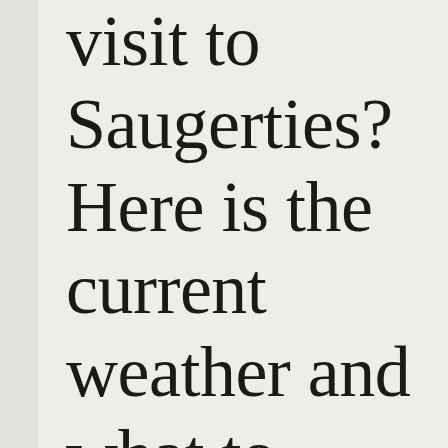visit to Saugerties? Here is the current weather and what to